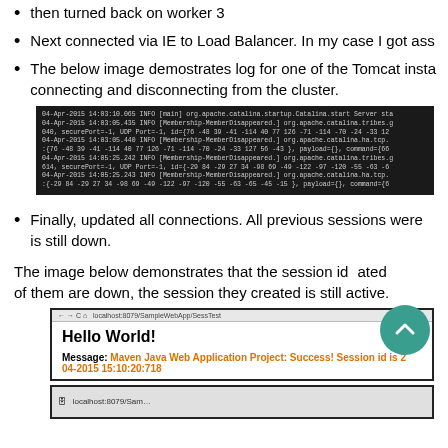then turned back on worker 3
Next connected via IE to Load Balancer. In my case I got ass
The below image demostrates log for one of the Tomcat insta connecting and disconnecting from the cluster.
[Figure (screenshot): Tomcat log output showing MemberDisappeared INFO messages with dates 04-Apr-2015 14:03 and 14:05, displaying cluster membership changes with UDP port and ID information]
Finally, updated all connections. All previous sessions were is still down.
The image below demonstrates that the session id [truncated]ated of them are down, the session they created is still active.
[Figure (screenshot): Browser screenshot showing localhost:8079/SampleWebApp/SessTest with Hello World! heading and Message: Maven Java Web Application Project: Success! Session id is 2 04-2015 15:10:20:718]
[Figure (screenshot): Second browser screenshot showing localhost:8079/Sam...]